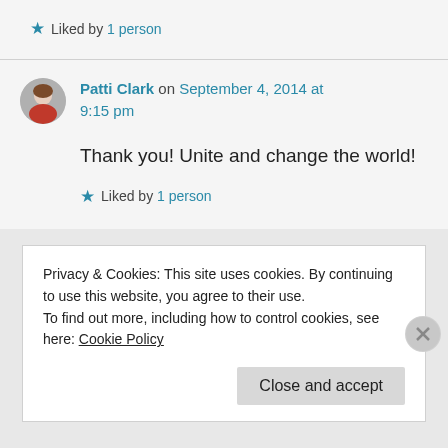★ Liked by 1 person
Patti Clark on September 4, 2014 at 9:15 pm
Thank you! Unite and change the world!
★ Liked by 1 person
Privacy & Cookies: This site uses cookies. By continuing to use this website, you agree to their use.
To find out more, including how to control cookies, see here: Cookie Policy
Close and accept